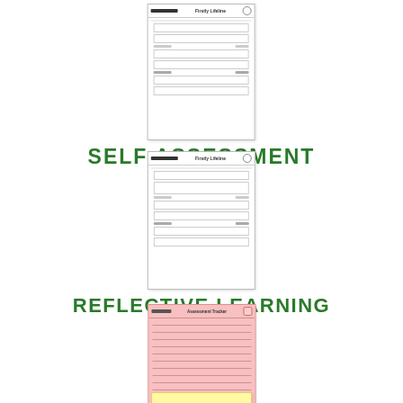[Figure (screenshot): Thumbnail of a self assessment worksheet form with white background, showing form fields and sections]
SELF ASSESSMENT
[Figure (screenshot): Thumbnail of a reflective learning worksheet form with white background, showing form fields and sections]
REFLECTIVE LEARNING
[Figure (screenshot): Thumbnail of an organization skills worksheet form with pink background, showing lined rows for writing]
ORGANIZATION SKILLS
[Figure (screenshot): Partial thumbnail of a yellow form at the bottom of the page]